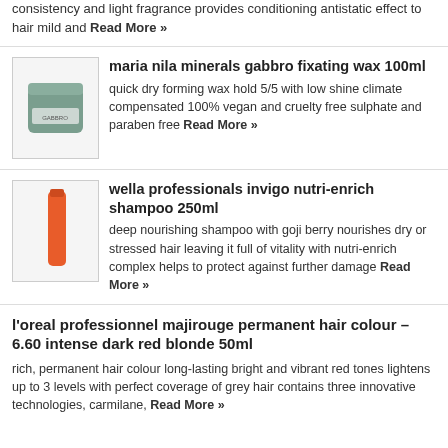consistency and light fragrance provides conditioning antistatic effect to hair mild and Read More »
maria nila minerals gabbro fixating wax 100ml
quick dry forming wax hold 5/5 with low shine climate compensated 100% vegan and cruelty free sulphate and paraben free Read More »
wella professionals invigo nutri-enrich shampoo 250ml
deep nourishing shampoo with goji berry nourishes dry or stressed hair leaving it full of vitality with nutri-enrich complex helps to protect against further damage Read More »
l'oreal professionnel majirouge permanent hair colour – 6.60 intense dark red blonde 50ml
rich, permanent hair colour long-lasting bright and vibrant red tones lightens up to 3 levels with perfect coverage of grey hair contains three innovative technologies, carmilane, Read More »